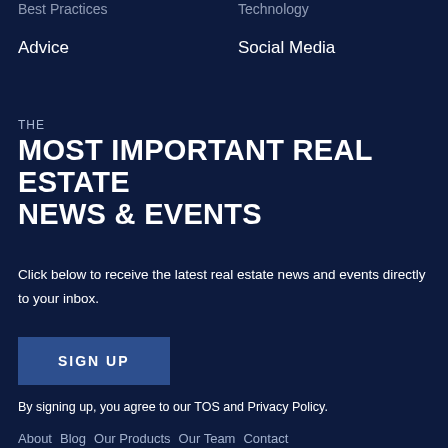Best Practices
Technology
Advice
Social Media
THE
MOST IMPORTANT REAL ESTATE NEWS & EVENTS
Click below to receive the latest real estate news and events directly to your inbox.
SIGN UP
By signing up, you agree to our TOS and Privacy Policy.
About   Blog   Our Products   Our Team   Contact